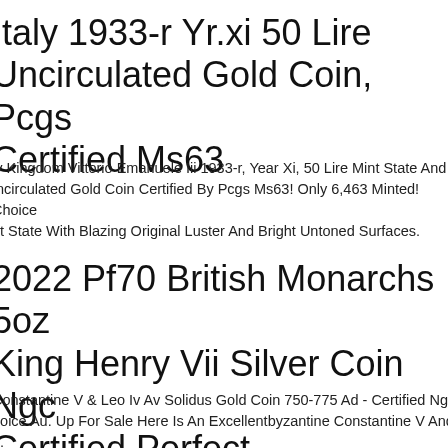Italy 1933-r Yr.xi 50 Lire Uncirculated Gold Coin, Pcgs Certified Ms63
ly Kingdom Vittorio Emanuele Iii 1933-r, Year Xi, 50 Lire Mint State And Incirculated Gold Coin Certified By Pcgs Ms63! Only 6,463 Minted! Choice nt State With Blazing Original Luster And Bright Untoned Surfaces.
2022 Pf70 British Monarchs 5oz King Henry Vii Silver Coin Ngc Certified Perfect
Constantine V & Leo Iv Av Solidus Gold Coin 750-775 Ad - Certified Ngc hoice Au. Up For Sale Here Is An Excellentbyzantine Constantine V And ...